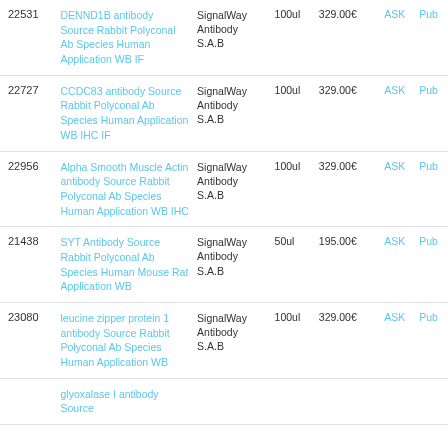| ID | Description | Supplier | Size | Price | ASK | Pub |
| --- | --- | --- | --- | --- | --- | --- |
| 22531 | DENND1B antibody Source Rabbit Polyconal Ab Species Human Application WB IF | SignalWay Antibody S.A.B | 100ul | 329.00€ | ASK | Pub |
| 22727 | CCDC83 antibody Source Rabbit Polyconal Ab Species Human Application WB IHC IF | SignalWay Antibody S.A.B | 100ul | 329.00€ | ASK | Pub |
| 22956 | Alpha Smooth Muscle Actin antibody Source Rabbit Polyconal Ab Species Human Application WB IHC | SignalWay Antibody S.A.B | 100ul | 329.00€ | ASK | Pub |
| 21438 | SYT Antibody Source Rabbit Polyconal Ab Species Human Mouse Rat Application WB | SignalWay Antibody S.A.B | 50ul | 195.00€ | ASK | Pub |
| 23080 | leucine zipper protein 1 antibody Source Rabbit Polyconal Ab Species Human Application WB | SignalWay Antibody S.A.B | 100ul | 329.00€ | ASK | Pub |
|  | glyoxalase I antibody Source... |  |  |  |  |  |